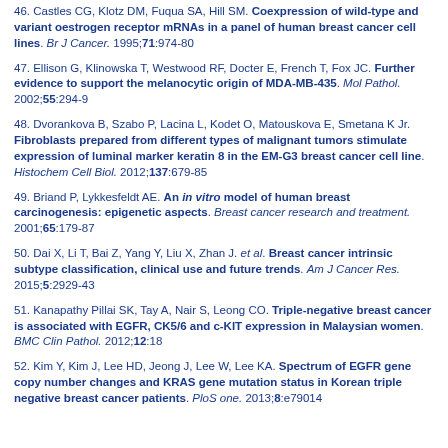46. Castles CG, Klotz DM, Fuqua SA, Hill SM. Coexpression of wild-type and variant oestrogen receptor mRNAs in a panel of human breast cancer cell lines. Br J Cancer. 1995;71:974-80
47. Ellison G, Klinowska T, Westwood RF, Docter E, French T, Fox JC. Further evidence to support the melanocytic origin of MDA-MB-435. Mol Pathol. 2002;55:294-9
48. Dvorankova B, Szabo P, Lacina L, Kodet O, Matouskova E, Smetana K Jr. Fibroblasts prepared from different types of malignant tumors stimulate expression of luminal marker keratin 8 in the EM-G3 breast cancer cell line. Histochem Cell Biol. 2012;137:679-85
49. Briand P, Lykkesfeldt AE. An in vitro model of human breast carcinogenesis: epigenetic aspects. Breast cancer research and treatment. 2001;65:179-87
50. Dai X, Li T, Bai Z, Yang Y, Liu X, Zhan J. et al. Breast cancer intrinsic subtype classification, clinical use and future trends. Am J Cancer Res. 2015;5:2929-43
51. Kanapathy Pillai SK, Tay A, Nair S, Leong CO. Triple-negative breast cancer is associated with EGFR, CK5/6 and c-KIT expression in Malaysian women. BMC Clin Pathol. 2012;12:18
52. Kim Y, Kim J, Lee HD, Jeong J, Lee W, Lee KA. Spectrum of EGFR gene copy number changes and KRAS gene mutation status in Korean triple negative breast cancer patients. PloS one. 2013;8:e79014